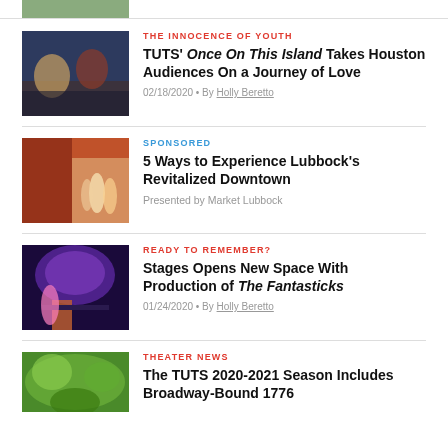[Figure (photo): Partial image of flowers/plants at top of page]
[Figure (photo): Theater production photo - performers in colorful costumes on stage]
THE INNOCENCE OF YOUTH
TUTS' Once On This Island Takes Houston Audiences On a Journey of Love
02/18/2020 • By Holly Beretto
[Figure (photo): People walking downtown street with parasols]
SPONSORED
5 Ways to Experience Lubbock's Revitalized Downtown
Presented by Market Lubbock
[Figure (photo): Two performers on stage in dramatic lighting]
READY TO REMEMBER?
Stages Opens New Space With Production of The Fantasticks
01/24/2020 • By Holly Beretto
[Figure (photo): Colorful theatrical production photo]
THEATER NEWS
The TUTS 2020-2021 Season Includes Broadway-Bound 1776